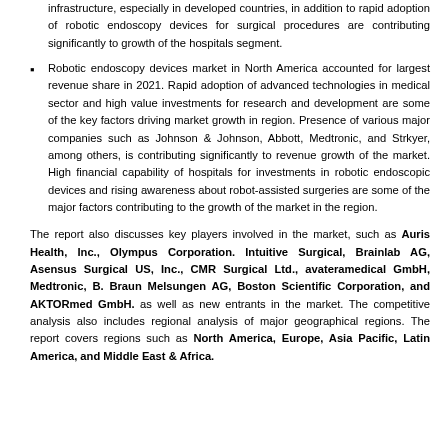infrastructure, especially in developed countries, in addition to rapid adoption of robotic endoscopy devices for surgical procedures are contributing significantly to growth of the hospitals segment.
Robotic endoscopy devices market in North America accounted for largest revenue share in 2021. Rapid adoption of advanced technologies in medical sector and high value investments for research and development are some of the key factors driving market growth in region. Presence of various major companies such as Johnson & Johnson, Abbott, Medtronic, and Strkyer, among others, is contributing significantly to revenue growth of the market. High financial capability of hospitals for investments in robotic endoscopic devices and rising awareness about robot-assisted surgeries are some of the major factors contributing to the growth of the market in the region.
The report also discusses key players involved in the market, such as Auris Health, Inc., Olympus Corporation. Intuitive Surgical, Brainlab AG, Asensus Surgical US, Inc., CMR Surgical Ltd., avateramedical GmbH, Medtronic, B. Braun Melsungen AG, Boston Scientific Corporation, and AKTORmed GmbH. as well as new entrants in the market. The competitive analysis also includes regional analysis of major geographical regions. The report covers regions such as North America, Europe, Asia Pacific, Latin America, and Middle East & Africa.